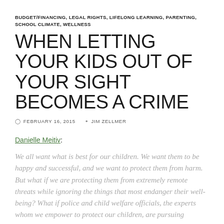BUDGET/FINANCING, LEGAL RIGHTS, LIFELONG LEARNING, PARENTING, SCHOOL CLIMATE, WELLNESS
WHEN LETTING YOUR KIDS OUT OF YOUR SIGHT BECOMES A CRIME
FEBRUARY 16, 2015   JIM ZELLMER
Danielle Meitiv:
We all want what is best for our children. We want them to be happy and successful, and we want to protect them from harm. But what if we are protecting them from extremely remote threats while ignoring the things that most endanger their well-being? What if police and child welfare officials, the experts whom we empower to protect our children, are pursuing phantom problems